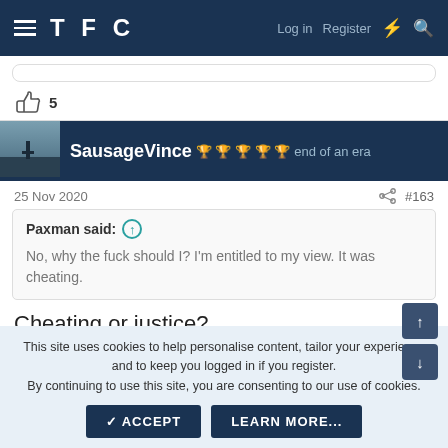TFC — Log in  Register
[Figure (screenshot): Like/thumbs-up icon with count 5]
[Figure (screenshot): Avatar photo of SausageVince]
SausageVince 🏆🏆🏆🏆🏆 end of an era
25 Nov 2020  #163
Paxman said: ↑
No, why the fuck should I? I'm entitled to my view. It was cheating.
Cheating or justice?
This site uses cookies to help personalise content, tailor your experience and to keep you logged in if you register.
By continuing to use this site, you are consenting to our use of cookies.
✓ ACCEPT   LEARN MORE...